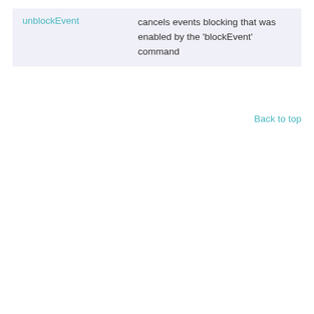| unblockEvent | cancels events blocking that was enabled by the 'blockEvent' command |
Back to top